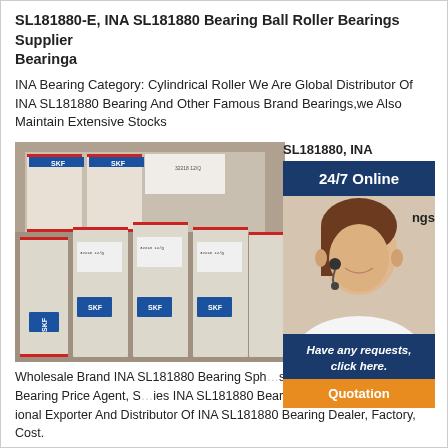SL181880-E, INA SL181880 Bearing Ball Roller Bearings Supplier Bearinga
INA Bearing Category: Cylindrical Roller We Are Global Distributor Of INA SL181880 Bearing And Other Famous Brand Bearings,we Also Maintain Extensive Stocks
[Figure (photo): Photo of SKF bearing product boxes stacked on shelves, with a customer service agent overlay showing '24/7 Online', 'Have any requests, click here.' and 'Quotation' buttons. Text 'SL181880, INA' and 'ngs' visible on right side.]
Wholesale Brand INA SL181880 Bearing Sph... s, Cheap INA SL181880 Bearing Price Agent, S... ies INA SL181880 Bearing Ball Bearings Trader; ...ional Exporter And Distributor Of INA SL181880 Bearing Dealer, Factory, Cost.